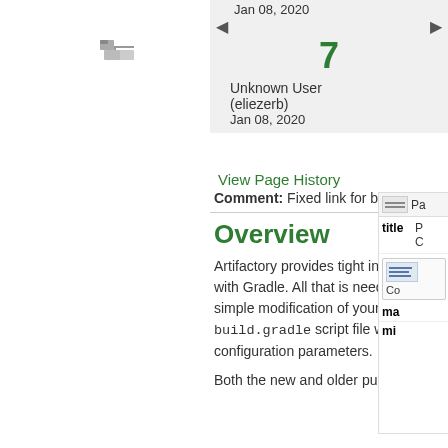[Figure (screenshot): Tree/folder icon in left sidebar]
Jan 08, 2020
7
Unknown User (eliezerb)
Jan 08, 2020
View Page History
Comment: Fixed link for build-info
Overview
Artifactory provides tight integration with Gradle. All that is needed is a simple modification of your build.gradle script file with a few configuration parameters.
Both the new and older publishing
[Figure (screenshot): Partial right-side panel showing a page macro with title, content, max, min fields]